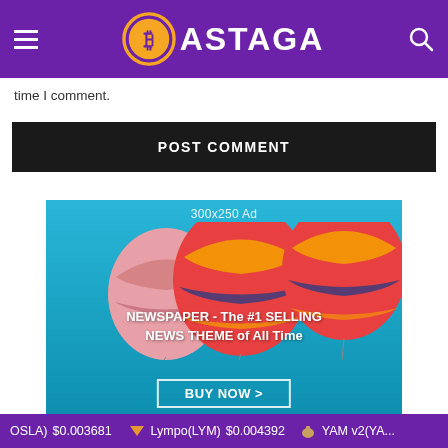BASTAGA (logo with Bitcoin icon, hamburger menu, search icon)
time I comment.
POST COMMENT
[Figure (infographic): 300x250 Ad banner with hot air balloons on blue background. Text reads: NEWSPAPER - The #1 SELLING NEWS THEME of All Time. BUY NOW > button.]
OSLA) $0.003681  Lympo(LYM) $0.004392  YAM v2(YA...